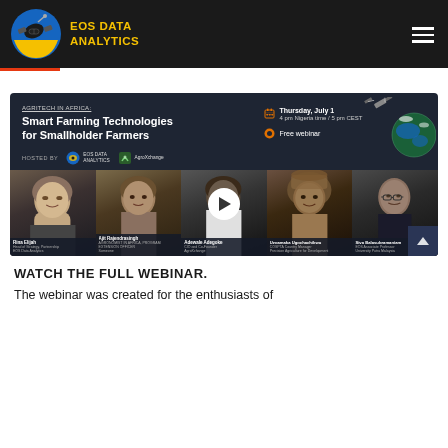[Figure (logo): EOS Data Analytics logo — satellite/globe icon in blue/yellow with company name in yellow text]
[Figure (screenshot): Webinar promo card with dark background showing 'AGRITECH IN AFRICA: Smart Farming Technologies for Smallholder Farmers' webinar on Thursday, July 1, 4pm Nigeria time / 5pm CEST, Free webinar, hosted by EOS Data Analytics and AgroXchange, with five speaker photos below and a play button overlay]
WATCH THE FULL WEBINAR.
The webinar was created for the enthusiasts of